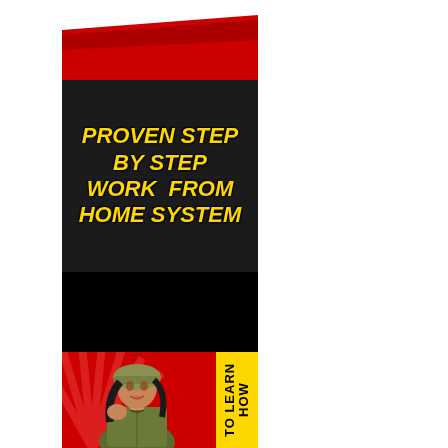[Figure (illustration): Vertical advertisement banner. Top section: white to red gradient background with a gear/machinery logo featuring the letter N. Middle section: dark background with horizontal scan lines showing bold italic yellow text 'PROVEN STEP BY STEP WORK FROM HOME SYSTEM'. Below: black section. Bottom: red background with illustrated woman in military/army style outfit and helmet, plus a yellow vertical button on the right side with text 'TO LEARN HOW'.]